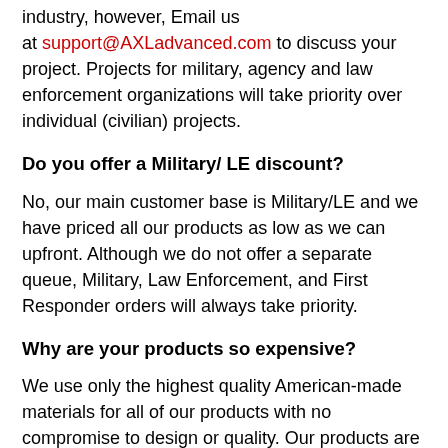industry, however, Email us at support@AXLadvanced.com to discuss your project. Projects for military, agency and law enforcement organizations will take priority over individual (civilian) projects.
Do you offer a Military/ LE discount?
No, our main customer base is Military/LE and we have priced all our products as low as we can upfront. Although we do not offer a separate queue, Military, Law Enforcement, and First Responder orders will always take priority.
Why are your products so expensive?
We use only the highest quality American-made materials for all of our products with no compromise to design or quality. Our products are made by highly skilled American workers with a focus on quality.
My unit wants to order in bulk. How do we do